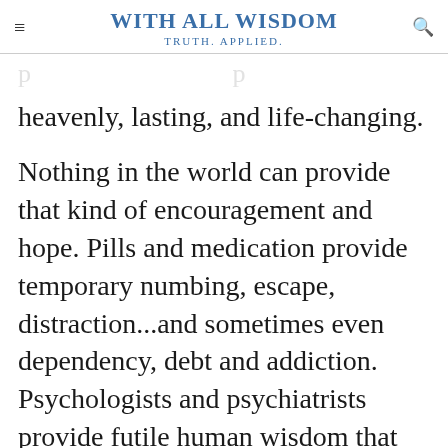WITH ALL WISDOM — Truth. Applied.
heavenly, lasting, and life-changing.
Nothing in the world can provide that kind of encouragement and hope. Pills and medication provide temporary numbing, escape, distraction...and sometimes even dependency, debt and addiction. Psychologists and psychiatrists provide futile human wisdom that can't penetrate the soul or override the real causes of depression. Rapid eye therapy (RET) provides a temporary false hope based on